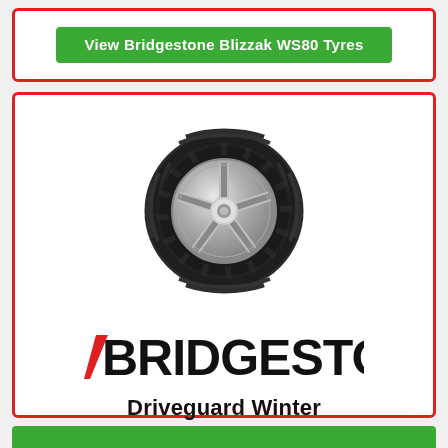View Bridgestone Blizzak WS80 Tyres
[Figure (photo): Bridgestone Driveguard Winter tyre with silver alloy wheel, side-on view]
[Figure (logo): Bridgestone logo with red slash on the letter B]
Driveguard Winter